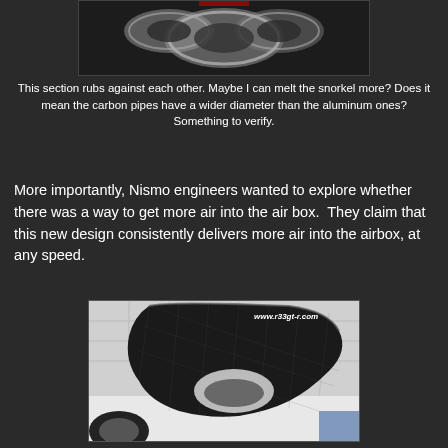[Figure (photo): Close-up photo of metal/aluminum pipes or tubes showing circular cross-sections, dark background]
This section rubs against each other. Maybe I can melt the snorkel more? Does it mean the carbon pipes have a wider diameter than the aluminum ones? Something to verify.
More importantly, Nismo engineers wanted to explore whether there was a way to get more air into the air box. They claim that this new design consistently delivers more air into the airbox, at any speed.
[Figure (photo): Photo of a carbon fiber air intake snorkel/duct component on a Nissan GT-R, showing carbon weave texture and shaped opening, with watermark www.r33gt-r.com]